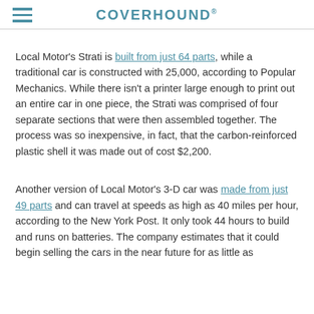COVERHOUND®
Local Motor's Strati is built from just 64 parts, while a traditional car is constructed with 25,000, according to Popular Mechanics. While there isn't a printer large enough to print out an entire car in one piece, the Strati was comprised of four separate sections that were then assembled together. The process was so inexpensive, in fact, that the carbon-reinforced plastic shell it was made out of cost $2,200.
Another version of Local Motor's 3-D car was made from just 49 parts and can travel at speeds as high as 40 miles per hour, according to the New York Post. It only took 44 hours to build and runs on batteries. The company estimates that it could begin selling the cars in the near future for as little as